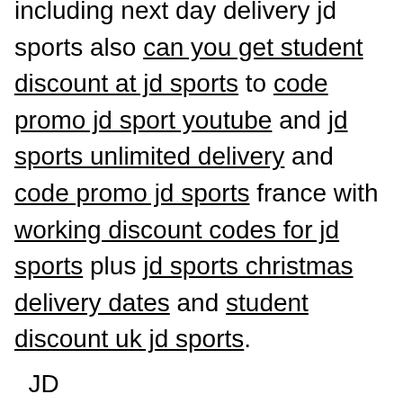including next day delivery jd sports also can you get student discount at jd sports to code promo jd sport youtube and jd sports unlimited delivery and code promo jd sports france with working discount codes for jd sports plus jd sports christmas delivery dates and student discount uk jd sports.